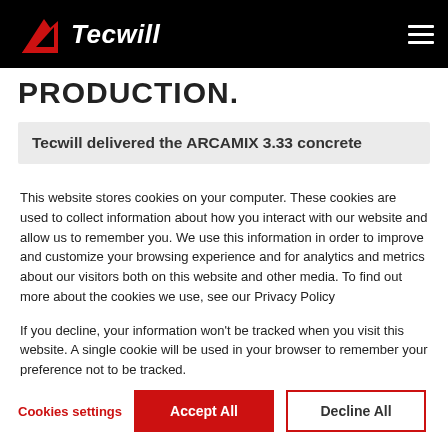[Figure (logo): Tecwill company logo with red triangle/arrow shape and white italic bold text 'Tecwill' on black navigation bar]
PRODUCTION.
Tecwill delivered the ARCAMIX 3.33 concrete
This website stores cookies on your computer. These cookies are used to collect information about how you interact with our website and allow us to remember you. We use this information in order to improve and customize your browsing experience and for analytics and metrics about our visitors both on this website and other media. To find out more about the cookies we use, see our Privacy Policy
If you decline, your information won't be tracked when you visit this website. A single cookie will be used in your browser to remember your preference not to be tracked.
Cookies settings  Accept All  Decline All